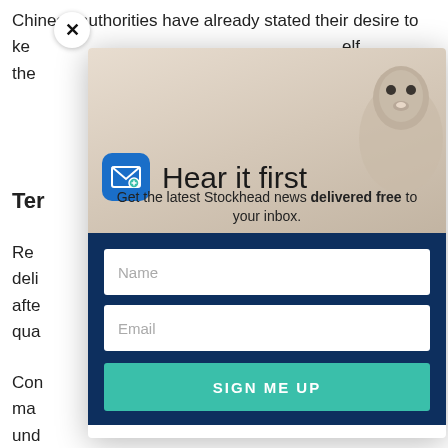Chinese authorities have already stated their desire to ke... ...elf the...
Ter...
Re... deli... afte... qua...
Con... ma... und... gen... con... ...ts not...
[Figure (screenshot): Email newsletter signup modal popup with 'Hear it first' heading, mail icon, groundhog/marmot photo background, name and email input fields, and 'SIGN ME UP' button on dark blue background. Close button (X) in top-left corner.]
Hear it first
Get the latest Stockhead news delivered free to your inbox.
Name
Email
SIGN ME UP